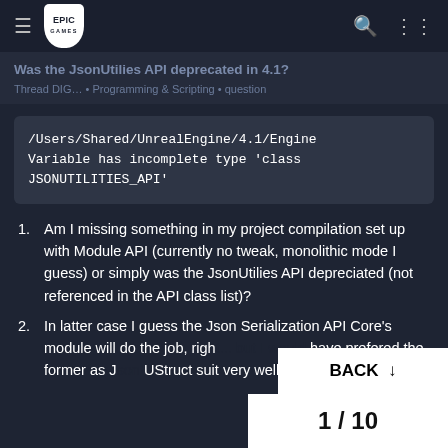Epic Games logo, hamburger menu, search icon, grid icon
Was the JsonUtilies API deprecated in 4.1?
Thread DIG... • Programming & Scripting • question
[Figure (screenshot): Code block showing: /Users/Shared/UnrealEngine/4.1/Engine Variable has incomplete type 'class JSONUTILITIES_API']
Am I missing something in my project compilation set up with Module API (currently no tweak, monolithic mode I guess) or simply was the JsonUtilies API depreciated (not referenced in the API class list)?
In latter case I guess the Json Serialization API Core's module will do the job, right... but I would have prefered the former as J... UStruct suit very well my need